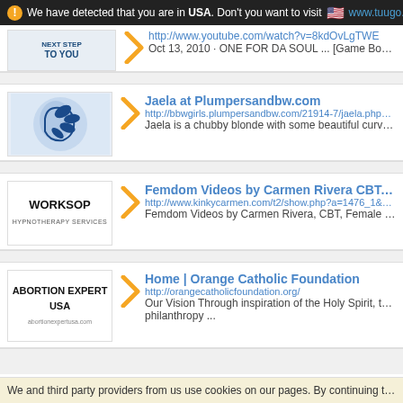We have detected that you are in USA. Don't you want to visit www.tuugo.
http://www.youtube.com/watch?v=8kdOvLgTWE
Oct 13, 2010 · ONE FOR DA SOUL ... [Game Boy Advance]
Jaela at Plumpersandbw.com
http://bbwgirls.plumpersandbw.com/21914-7/jaela.php?nats=
Jaela is a chubby blonde with some beautiful curves and vol
Femdom Videos by Carmen Rivera CBT, Fem
http://www.kinkycarmen.com/t2/show.php?a=1476_1&path=&
Femdom Videos by Carmen Rivera, CBT, Female Dominatio
Home | Orange Catholic Foundation
http://orangecatholicfoundation.org/
Our Vision Through inspiration of the Holy Spirit, the Orange philanthropy ...
We and third party providers from us use cookies on our pages. By continuing to browse our